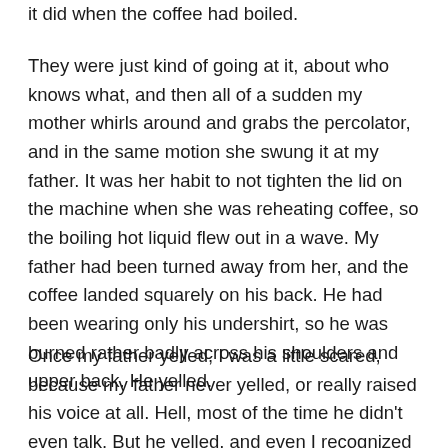it did when the coffee had boiled.
They were just kind of going at it, about who knows what, and then all of a sudden my mother whirls around and grabs the percolator, and in the same motion she swung it at my father. It was her habit to not tighten the lid on the machine when she was reheating coffee, so the boiling hot liquid flew out in a wave. My father had been turned away from her, and the coffee landed squarely on his back. He had been wearing only his undershirt, so he was burned rather badly across his shoulders and upper back. He yelled.
Once my father yelled, I was a little scared, because my father never yelled, or really raised his voice at all. Hell, most of the time he didn't even talk. But he yelled, and even I recognized it as a spontaneous utterance of pain